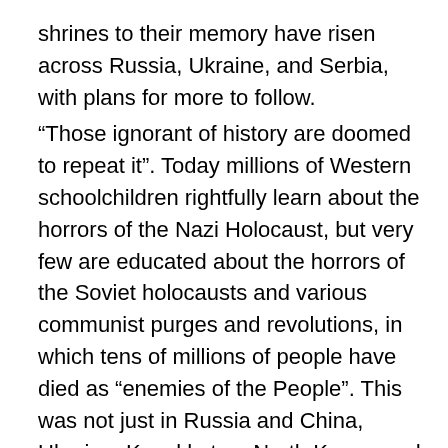shrines to their memory have risen across Russia, Ukraine, and Serbia, with plans for more to follow.
“Those ignorant of history are doomed to repeat it”. Today millions of Western schoolchildren rightfully learn about the horrors of the Nazi Holocaust, but very few are educated about the horrors of the Soviet holocausts and various communist purges and revolutions, in which tens of millions of people have died as “enemies of the People”. This was not just in Russia and China, Ukraine, Kazakhstan, North Korea, and Cuba, but all across the world. In Vietnam, Cambodia, Georgia, Armenia, Angola, Belarus, Latvia, Lithuania, Estonia, Poland, Czechia, Slovakia, Hungary, Romania, Bulgaria, Serbia, Croatia, Bosnia and Herzegovina, Albania, Macedonia, and Mongolia, millions of people died under communist firing